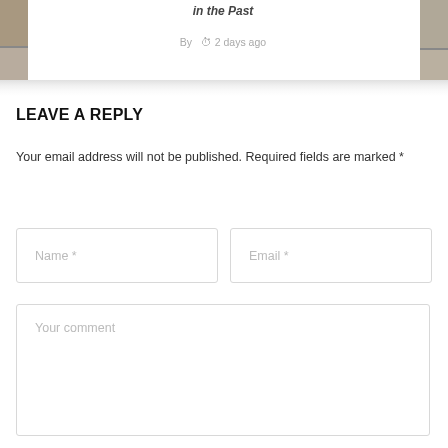[Figure (photo): Partial view of article thumbnail images on left and right edges, with partial italic title text and byline showing 'By' and clock icon with '2 days ago']
By  2 days ago
LEAVE A REPLY
Your email address will not be published. Required fields are marked *
Name *
Email *
Your comment